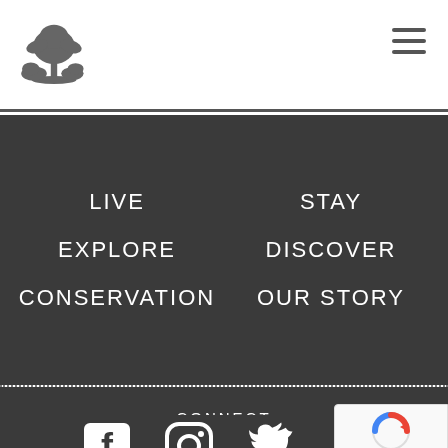[Figure (logo): Tree/palm silhouette logo in gray]
[Figure (other): Hamburger menu icon (three horizontal lines)]
LIVE
STAY
EXPLORE
DISCOVER
CONSERVATION
OUR STORY
CONNECT
[Figure (other): Facebook icon]
[Figure (other): Instagram icon]
[Figure (other): Twitter/bird icon]
[Figure (other): reCAPTCHA badge with Privacy and Terms text]